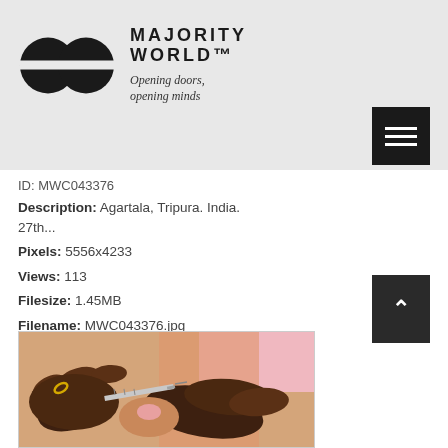MAJORITY WORLD™ — Opening doors, opening minds
ID: MWC043376
Description: Agartala, Tripura. India. 27th...
Pixels: 5556x4233
Views: 113
Filesize: 1.45MB
Filename: MWC043376.jpg
Owner: Abhisek Saha
Added: Oct 27, 2021
[Figure (photo): Close-up photograph of hands administering a vaccination injection (syringe) to a child's foot/toe, with pink/orange background tones]